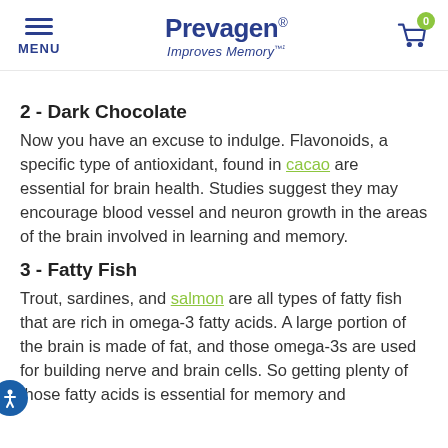MENU | Prevagen® Improves Memory™¹ | Cart (0)
2 - Dark Chocolate
Now you have an excuse to indulge. Flavonoids, a specific type of antioxidant, found in cacao are essential for brain health. Studies suggest they may encourage blood vessel and neuron growth in the areas of the brain involved in learning and memory.
3 - Fatty Fish
Trout, sardines, and salmon are all types of fatty fish that are rich in omega-3 fatty acids. A large portion of the brain is made of fat, and those omega-3s are used for building nerve and brain cells. So getting plenty of those fatty acids is essential for memory and